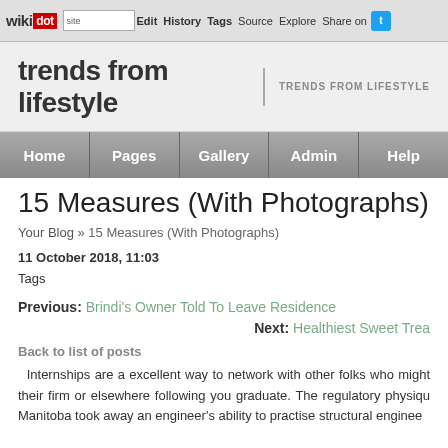wikidot | site | Edit | History | Tags | Source | Explore | Share on [Twitter]
trends from lifestyle | TRENDS FROM LIFESTYLE
Home | Pages | Gallery | Admin | Help
15 Measures (With Photographs)
Your Blog » 15 Measures (With Photographs)
11 October 2018, 11:03
Tags
Previous: Brindi's Owner Told To Leave Residence
Next: Healthiest Sweet Trea...
Back to list of posts
Internships are a excellent way to network with other folks who might their firm or elsewhere following you graduate. The regulatory physiqu Manitoba took away an engineer's ability to practise structural enginee